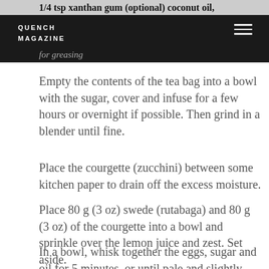1/4 tsp xanthan gum (optional) coconut oil, for greasing | QUENCH MAGAZINE | Empty the contents of the tea bag into a bowl
with the sugar, cover and infuse for a few hours or overnight if possible. Then grind in a blender until fine.
Place the courgette (zucchini) between some kitchen paper to drain off the excess moisture.
Place 80 g (3 oz) swede (rutabaga) and 80 g (3 oz) of the courgette into a bowl and sprinkle over the lemon juice and zest. Set aside.
In a bowl, whisk together the eggs, sugar and oil for 5 minutes, or until pale and slightly